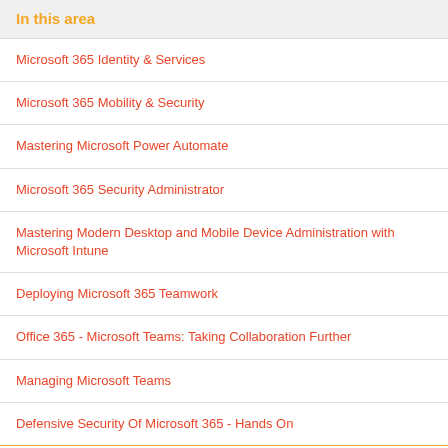In this area
Microsoft 365 Identity & Services
Microsoft 365 Mobility & Security
Mastering Microsoft Power Automate
Microsoft 365 Security Administrator
Mastering Modern Desktop and Mobile Device Administration with Microsoft Intune
Deploying Microsoft 365 Teamwork
Office 365 - Microsoft Teams: Taking Collaboration Further
Managing Microsoft Teams
Defensive Security Of Microsoft 365 - Hands On